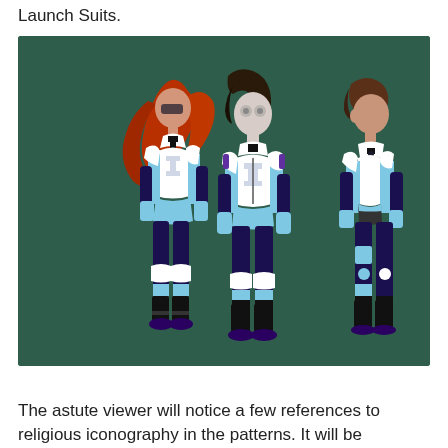Launch Suits.
[Figure (illustration): Three views of a futuristic Launch Suit worn by a female character: front-left view with red flowing hair, front view with dark hair and face covering, and back-right view with short brown hair. The suit features white armor plating over a light blue bodysuit with dark navy/purple leggings, white knee pads, and dark boots. The background is dark green.]
The astute viewer will notice a few references to religious iconography in the patterns. It will be